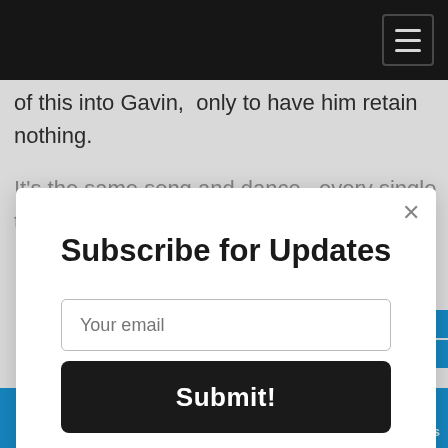of this into Gavin,  only to have him retain nothing.
It's the same song and dance,  every single time.
Subscribe for Updates
Your email
Submit!
AddThis